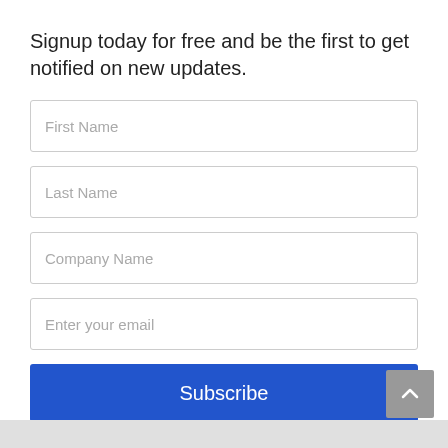Signup today for free and be the first to get notified on new updates.
First Name
Last Name
Company Name
Enter your email
Subscribe
powered by MailMunch